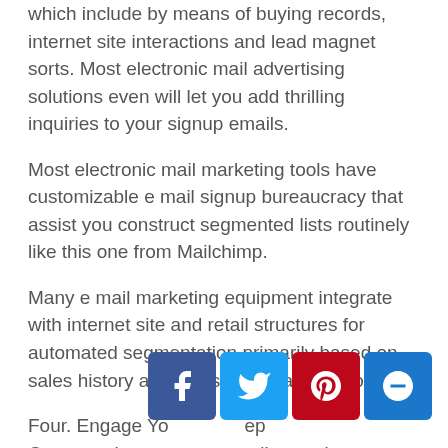which include by means of buying records, internet site interactions and lead magnet sorts. Most electronic mail advertising solutions even will let you add thrilling inquiries to your signup emails.
Most electronic mail marketing tools have customizable e mail signup bureaucracy that assist you construct segmented lists routinely like this one from Mailchimp.
Many e mail marketing equipment integrate with internet site and retail structures for automated segmentation primarily based on sales history and website interactions too.
Four. Engage Yo ep Once you have g r list, you're